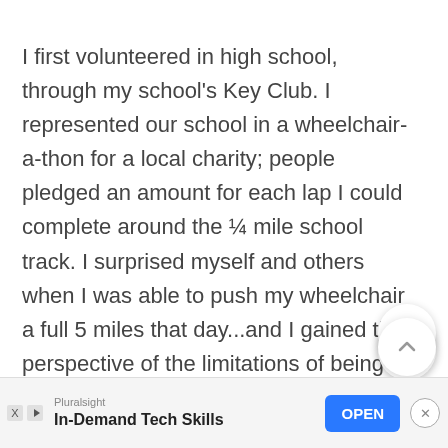I first volunteered in high school, through my school's Key Club. I represented our school in a wheelchair-a-thon for a local charity; people pledged an amount for each lap I could complete around the ¼ mile school track. I surprised myself and others when I was able to push my wheelchair a full 5 miles that day...and I gained the perspective of the limitations of being confined to a wheelchair.
[Figure (other): UI buttons: up-arrow circle button with count '11', heart circle button, and teal search circle button overlaid on the right side of the page]
[Figure (other): Advertisement banner at bottom: Pluralsight 'In-Demand Tech Skills' with OPEN button and close X button]